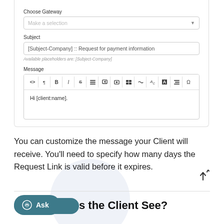[Figure (screenshot): UI form panel showing Choose Gateway dropdown, Subject field with '[Subject-Company] :: Request for payment information', placeholder hint text, and Message editor with toolbar and body text 'Hi [client:name].']
You can customize the message your Client will receive. You'll need to specify how many days the Request Link is valid before it expires.
What Does the Client See?